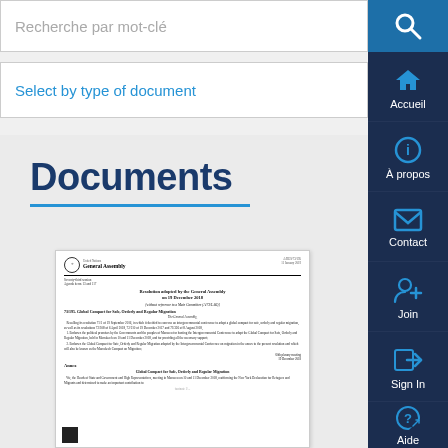Recherche par mot-clé
Select by type of document
Documents
[Figure (screenshot): Preview of a UN General Assembly resolution document titled 'Global Compact for Safe, Orderly and Regular Migration' (73/195), adopted on 19 December 2018, with UN logo, resolution text, and a QR code at the bottom.]
Accueil
À propos
Contact
Join
Sign In
Aide